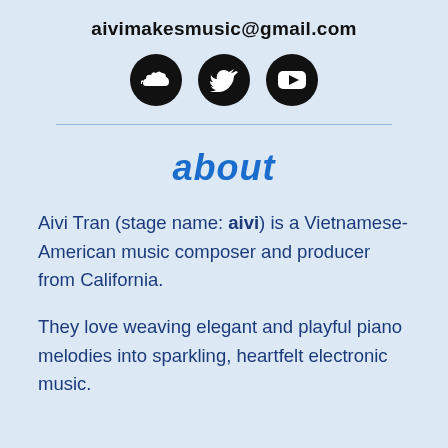aivimakesmusic@gmail.com
[Figure (illustration): Three circular black social media icons in a row: SoundCloud, Twitter, and YouTube]
about
Aivi Tran (stage name: aivi) is a Vietnamese-American music composer and producer from California.
They love weaving elegant and playful piano melodies into sparkling, heartfelt electronic music.